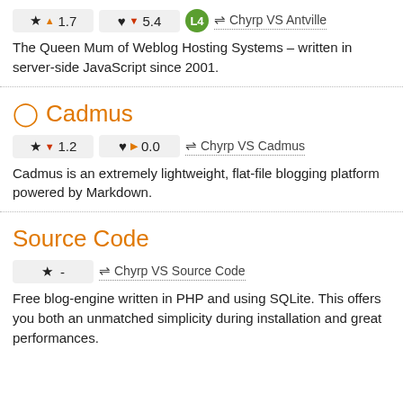★ ▲1.7  ♥ ▼5.4  L4  ⇌ Chyrp VS Antville — The Queen Mum of Weblog Hosting Systems – written in server-side JavaScript since 2001.
Cadmus
★ ▼1.2  ♥ ▶0.0  ⇌ Chyrp VS Cadmus — Cadmus is an extremely lightweight, flat-file blogging platform powered by Markdown.
Source Code
★ -  ⇌ Chyrp VS Source Code — Free blog-engine written in PHP and using SQLite. This offers you both an unmatched simplicity during installation and great performances.